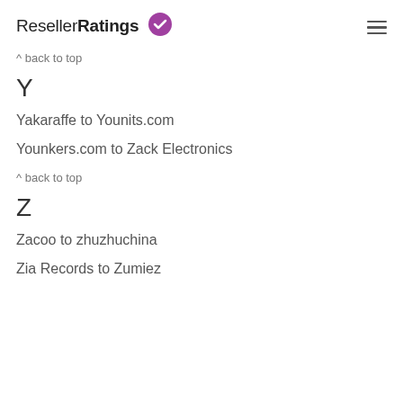ResellerRatings
^ back to top
Y
Yakaraffe to Younits.com
Younkers.com to Zack Electronics
^ back to top
Z
Zacoo to zhuzhuchina
Zia Records to Zumiez